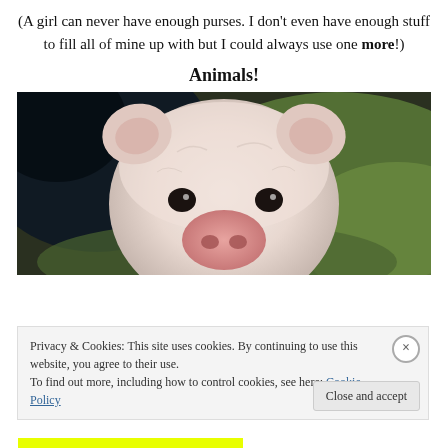(A girl can never have enough purses. I don't even have enough stuff to fill all of mine up with but I could always use one more!)
Animals!
[Figure (photo): Close-up photo of a baby pig (piglet) looking directly at the camera with a green blurred background]
Privacy & Cookies: This site uses cookies. By continuing to use this website, you agree to their use.
To find out more, including how to control cookies, see here: Cookie Policy